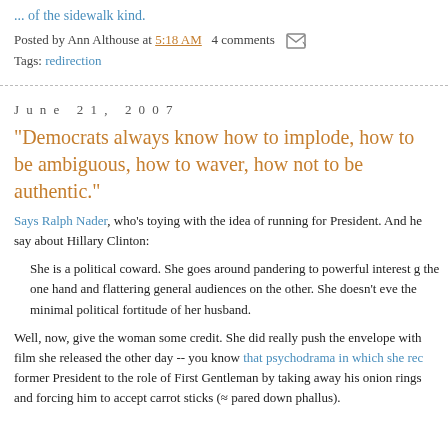... of the sidewalk kind.
Posted by Ann Althouse at 5:18 AM   4 comments
Tags: redirection
June 21, 2007
"Democrats always know how to implode, how to be ambiguous, how to waver, how not to be authentic."
Says Ralph Nader, who's toying with the idea of running for President. And he say about Hillary Clinton:
She is a political coward. She goes around pandering to powerful interest g the one hand and flattering general audiences on the other. She doesn't eve the minimal political fortitude of her husband.
Well, now, give the woman some credit. She did really push the envelope with film she released the other day -- you know that psychodrama in which she rec former President to the role of First Gentleman by taking away his onion rings and forcing him to accept carrot sticks (≈ pared down phallus).